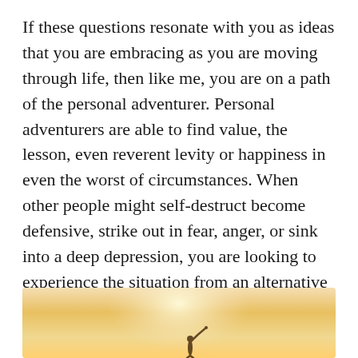If these questions resonate with you as ideas that you are embracing as you are moving through life, then like me, you are on a path of the personal adventurer. Personal adventurers are able to find value, the lesson, even reverent levity or happiness in even the worst of circumstances. When other people might self-destruct become defensive, strike out in fear, anger, or sink into a deep depression, you are looking to experience the situation from an alternative perspective, you find yourself looking for the treasure in every tragedy or challenge.
[Figure (photo): A warm golden-toned photo showing a silhouette of a person (possibly a bird or human figure) against a bright hazy sky background, cropped at the bottom of the page.]